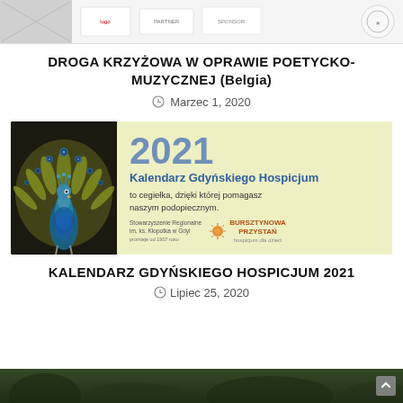[Figure (photo): Top banner image showing logos and decorative elements for a Polish community/religious organization]
DROGA KRZYŻOWA W OPRAWIE POETYCKO-MUZYCZNEJ (Belgia)
Marzec 1, 2020
[Figure (photo): 2021 Kalendarz Gdyńskiego Hospicjum promotional image featuring a peacock on the left and the calendar text on a light yellow background on the right]
KALENDARZ GDYŃSKIEGO HOSPICJUM 2021
Lipiec 25, 2020
[Figure (photo): Bottom strip showing the beginning of another article image with a dark green/forest background]